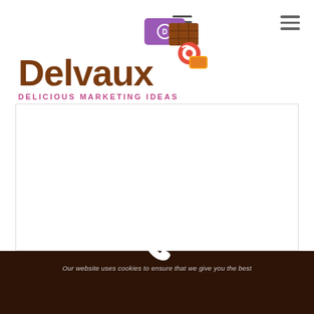[Figure (logo): Delvaux Delicious Marketing Ideas logo with candy and chocolate imagery]
Our website uses cookies to ensure that we give you the best